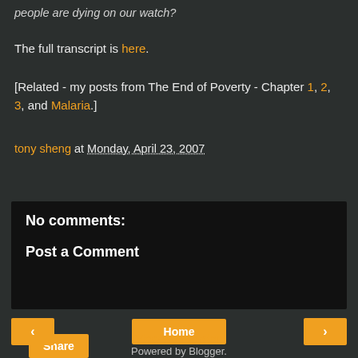people are dying on our watch?
The full transcript is here.
[Related - my posts from The End of Poverty - Chapter 1, 2, 3, and Malaria.]
tony sheng at Monday, April 23, 2007
Share
No comments:
Post a Comment
Home
View web version
Powered by Blogger.